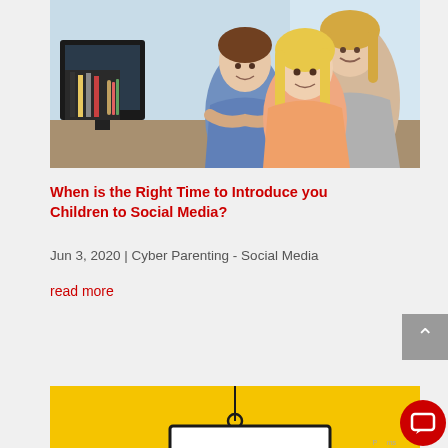[Figure (photo): A woman and two children (a boy and a girl) sitting together at a computer desk, smiling and looking at a monitor. The background shows a window with natural light.]
When is the Right Time to Introduce you Children to Social Media?
Jun 3, 2020 | Cyber Parenting - Social Media
read more
[Figure (illustration): A yellow background illustration showing a 'SAFETY FIRST' sign hanging from a string with a small worker figure holding a wrench, partially visible at the bottom of the page.]